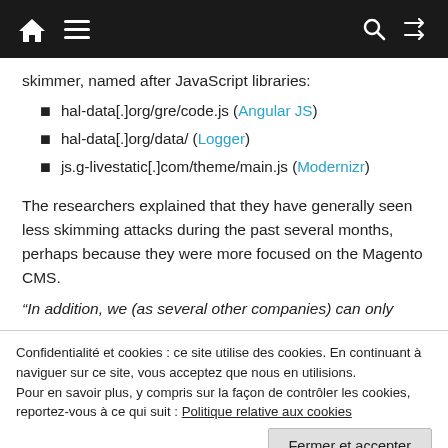Home Menu Search Random
skimmer, named after JavaScript libraries:
hal-data[.]org/gre/code.js (Angular JS)
hal-data[.]org/data/ (Logger)
js.g-livestatic[.]com/theme/main.js (Modernizr)
The researchers explained that they have generally seen less skimming attacks during the past several months, perhaps because they were more focused on the Magento CMS.
“In addition, we (as several other companies) can only
Confidentialité et cookies : ce site utilise des cookies. En continuant à naviguer sur ce site, vous acceptez que nous en utilisions. Pour en savoir plus, y compris sur la façon de contrôler les cookies, reportez-vous à ce qui suit : Politique relative aux cookies
Fermer et accepter
are other types of data considerably more worth it.